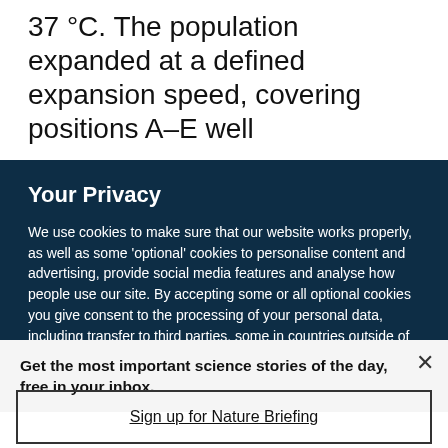37 °C. The population expanded at a defined expansion speed, covering positions A–E well
Your Privacy
We use cookies to make sure that our website works properly, as well as some 'optional' cookies to personalise content and advertising, provide social media features and analyse how people use our site. By accepting some or all optional cookies you give consent to the processing of your personal data, including transfer to third parties, some in countries outside of the European Economic Area that do not offer the same data protection standards as the country where you live. You can decide which optional cookies to accept by clicking on 'Manage Settings', where you can
Get the most important science stories of the day, free in your inbox.
Sign up for Nature Briefing